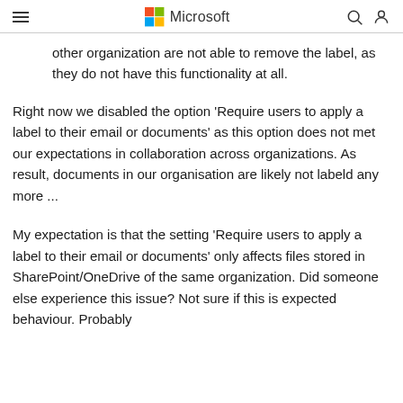Microsoft
other organization are not able to remove the label, as they do not have this functionality at all.
Right now we disabled the option 'Require users to apply a label to their email or documents' as this option does not met our expectations in collaboration across organizations. As result, documents in our organisation are likely not labeld any more ...
My expectation is that the setting 'Require users to apply a label to their email or documents' only affects files stored in SharePoint/OneDrive of the same organization. Did someone else experience this issue? Not sure if this is expected behaviour. Probably